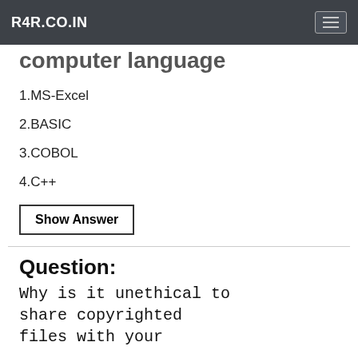R4R.CO.IN
computer language
1.MS-Excel
2.BASIC
3.COBOL
4.C++
Show Answer
Question:
Why is it unethical to share copyrighted files with your